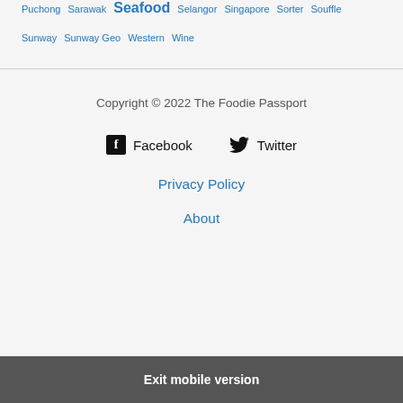Puchong Sarawak Seafood Selangor Singapore Sorter Souffle Sunway Sunway Geo Western Wine
Copyright © 2022 The Foodie Passport
Facebook Twitter
Privacy Policy
About
Exit mobile version